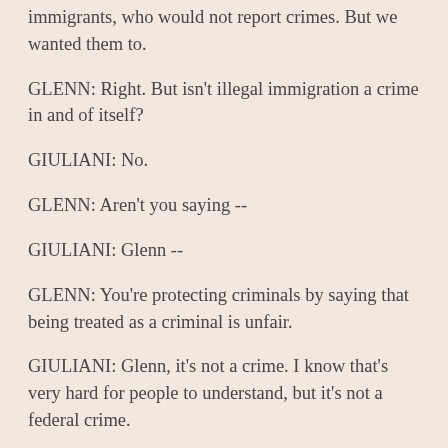immigrants, who would not report crimes. But we wanted them to.
GLENN: Right. But isn't illegal immigration a crime in and of itself?
GIULIANI: No.
GLENN: Aren't you saying --
GIULIANI: Glenn --
GLENN: You're protecting criminals by saying that being treated as a criminal is unfair.
GIULIANI: Glenn, it's not a crime. I know that's very hard for people to understand, but it's not a federal crime.
GLENN: It's a misdemeanor but if you've been nailed, it is a crime. If you've been nailed, ship back and come back, it is a crime.